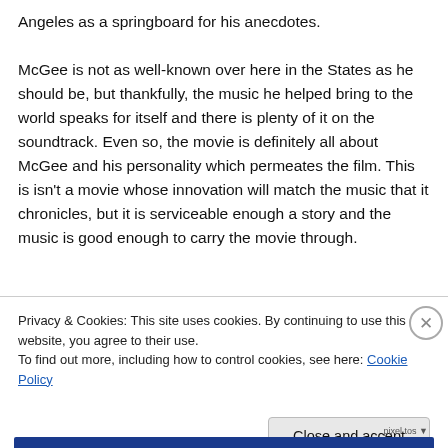Angeles as a springboard for his anecdotes.

McGee is not as well-known over here in the States as he should be, but thankfully, the music he helped bring to the world speaks for itself and there is plenty of it on the soundtrack. Even so, the movie is definitely all about McGee and his personality which permeates the film. This is isn't a movie whose innovation will match the music that it chronicles, but it is serviceable enough a story and the music is good enough to carry the movie through.
[Figure (screenshot): Partial view of a website header with dark navy and cyan color scheme, partially obscured by cookie consent overlay.]
Privacy & Cookies: This site uses cookies. By continuing to use this website, you agree to their use.
To find out more, including how to control cookies, see here: Cookie Policy
Close and accept